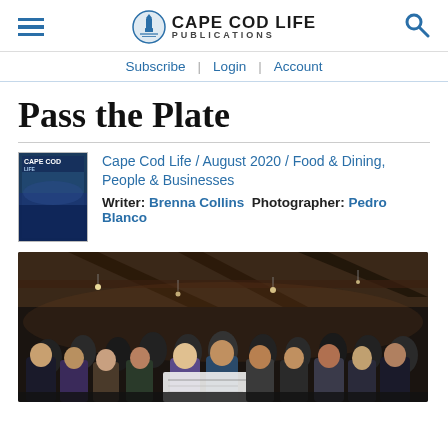Cape Cod Life Publications — navigation header with hamburger menu, logo, and search icon
Subscribe | Login | Account
Pass the Plate
Cape Cod Life / August 2020 / Food & Dining, People & Businesses
Writer: Brenna Collins  Photographer: Pedro Blanco
[Figure (photo): Group of people gathered indoors in a rustic barn-like venue with wooden beams and string lights; they appear to be at a charitable event, with someone holding a large check in the center.]